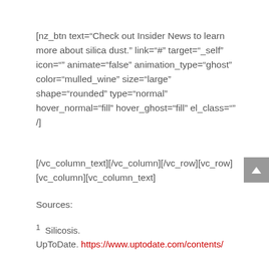[nz_btn text="Check out Insider News to learn more about silica dust." link="#" target="_self" icon="" animate="false" animation_type="ghost" color="mulled_wine" size="large" shape="rounded" type="normal" hover_normal="fill" hover_ghost="fill" el_class="" /]
[/vc_column_text][/vc_column][/vc_row][vc_row][vc_column][vc_column_text]
Sources:
1 Silicosis. UpToDate. https://www.uptodate.com/contents/